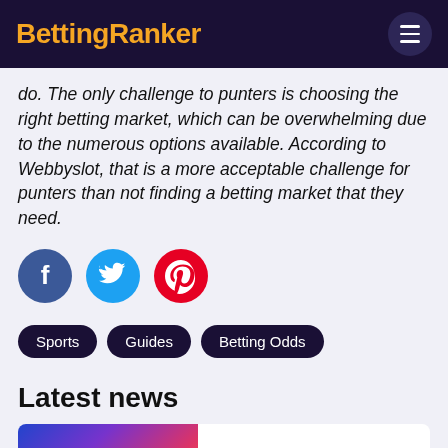BettingRanker
do. The only challenge to punters is choosing the right betting market, which can be overwhelming due to the numerous options available. According to Webbyslot, that is a more acceptable challenge for punters than not finding a betting market that they need.
[Figure (other): Social media share icons: Facebook (blue circle with f), Twitter (cyan circle with bird), Pinterest (red circle with p)]
Sports
Guides
Betting Odds
Latest news
[Figure (photo): Thumbnail image with blue and purple gradient tones for LOOT.BET article]
LOOT.BET Expanding